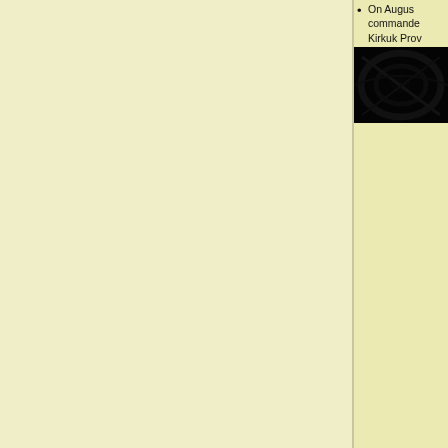On August … commander … Kirkuk Province…
[Figure (photo): Dark photograph showing tangled wire or debris against a dark background]
One of the app…
On August … the Al-Mith… cache cont… explosive. … Defense M…
[Figure (photo): Desert landscape photograph showing open terrain under a blue sky]